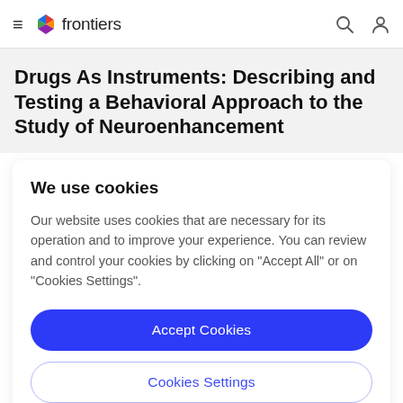frontiers
Drugs As Instruments: Describing and Testing a Behavioral Approach to the Study of Neuroenhancement
We use cookies
Our website uses cookies that are necessary for its operation and to improve your experience. You can review and control your cookies by clicking on "Accept All" or on "Cookies Settings".
Accept Cookies
Cookies Settings